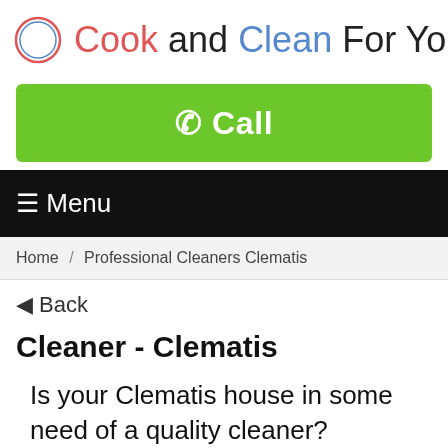Cook and Clean For You
☎ Call
☰ Menu
Home / Professional Cleaners Clematis
◀ Back
Cleaner - Clematis
Is your Clematis house in some need of a quality cleaner?